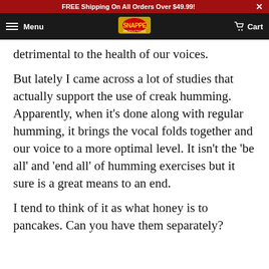FREE Shipping On All Orders Over $49.99!
Menu | [Logo] | Cart
detrimental to the health of our voices.
But lately I came across a lot of studies that actually support the use of creak humming. Apparently, when it's done along with regular humming, it brings the vocal folds together and our voice to a more optimal level. It isn't the 'be all' and 'end all' of humming exercises but it sure is a great means to an end.
I tend to think of it as what honey is to pancakes. Can you have them separately?